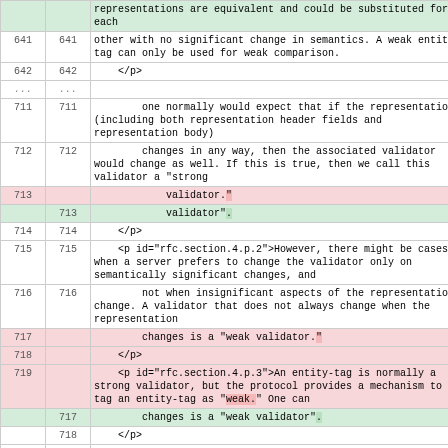|  |  | content |
| --- | --- | --- |
|  |  | representations are equivalent and could be substituted for each |
| 641 | 641 | other with no significant change in semantics. A weak entity-tag can only be used for weak comparison. |
| 642 | 642 | </p> |
| ... | ... |  |
| 711 | 711 | one normally would expect that if the representation (including both representation header fields and representation body) |
| 712 | 712 | changes in any way, then the associated validator would change as well. If this is true, then we call this validator a "strong |
| 713 |  | validator." |
|  | 713 | validator". |
| 714 | 714 | </p> |
| 715 | 715 | <p id="rfc.section.4.p.2">However, there might be cases when a server prefers to change the validator only on semantically significant changes, and |
| 716 | 716 | not when insignificant aspects of the representation change. A validator that does not always change when the representation |
| 717 |  | changes is a "weak validator." |
| 718 |  | </p> |
| 719 |  | <p id="rfc.section.4.p.3">An entity-tag is normally a strong validator, but the protocol provides a mechanism to tag an entity-tag as "weak." One can |
|  | 717 | changes is a "weak validator". |
|  | 718 | </p> |
|  | 719 | <p id="rfc.section.4.p.3">An entity-tag is normally a strong validator, but the protocol provides a mechanism to tag an entity-tag as |